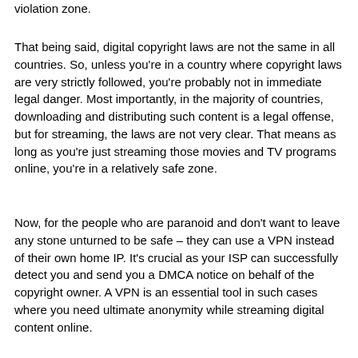violation zone.
That being said, digital copyright laws are not the same in all countries. So, unless you're in a country where copyright laws are very strictly followed, you're probably not in immediate legal danger. Most importantly, in the majority of countries, downloading and distributing such content is a legal offense, but for streaming, the laws are not very clear. That means as long as you're just streaming those movies and TV programs online, you're in a relatively safe zone.
Now, for the people who are paranoid and don't want to leave any stone unturned to be safe – they can use a VPN instead of their own home IP. It's crucial as your ISP can successfully detect you and send you a DMCA notice on behalf of the copyright owner. A VPN is an essential tool in such cases where you need ultimate anonymity while streaming digital content online.